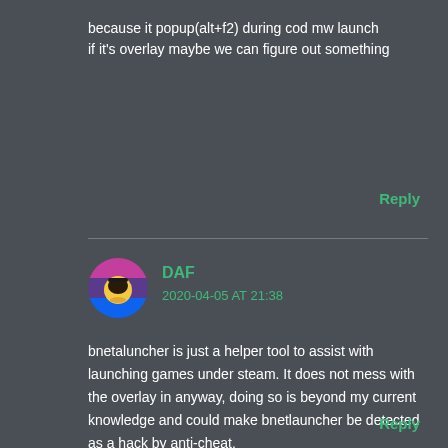because it popup(alt+f2) during cod mw launch
if it's overlay maybe we can figure out something
Reply
DAF
2020-04-05 AT 21:38
bnetaluncher is just a helper tool to assist with launching games under steam. It does not mess with the overlay in anyway, doing so is beyond my current knowledge and could make bnetlauncher be detected as a hack by anti-cheat.

You're best chance is asking Infinity Ward or Valve to address the issue.
Reply